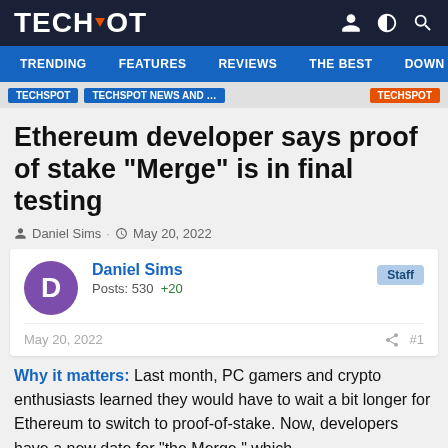TECHSPOT
TRENDING  FEATURES  REVIEWS  THE BEST  DOWNLO
Ethereum developer says proof of stake "Merge" is in final testing
Daniel Sims · May 20, 2022
Daniel Sims
Posts: 530  +20
Staff
May 20, 2022  #1
Why it matters: Last month, PC gamers and crypto enthusiasts learned they would have to wait a bit longer for Ethereum to switch to proof-of-stake. Now, developers have a new date for "the Merge," which